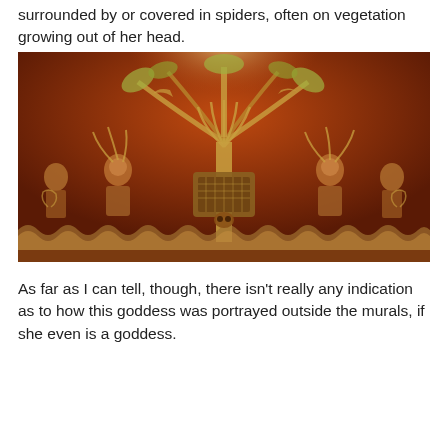surrounded by or covered in spiders, often on vegetation growing out of her head.
[Figure (photo): A large ancient Mesoamerican mural with deep red-brown background. The mural shows intricate figures including deity-like figures, trees or vegetation with elaborate foliage, birds, and ornate decorative patterns in gold/yellow tones. Central figure appears to be a goddess with vegetation growing from her head, surrounded by other figures. The lower portion features wave or cloud-like decorative border elements.]
As far as I can tell, though, there isn't really any indication as to how this goddess was portrayed outside the murals, if she even is a goddess.